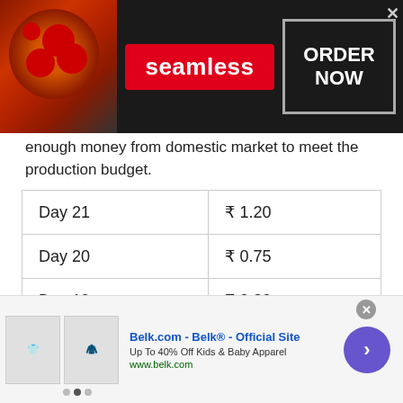[Figure (other): Seamless food delivery advertisement banner with pizza image, red seamless logo, and ORDER NOW button]
enough money from domestic market to meet the production budget.
| Day 21 | ₹ 1.20 |
| Day 20 | ₹ 0.75 |
| Day 19 | ₹ 0.80 |
| Day 18 | ₹ 0.85 |
| Day 17 | ₹ 3.00 |
[Figure (other): Belk.com advertisement banner showing kids apparel with Up To 40% Off promotion]